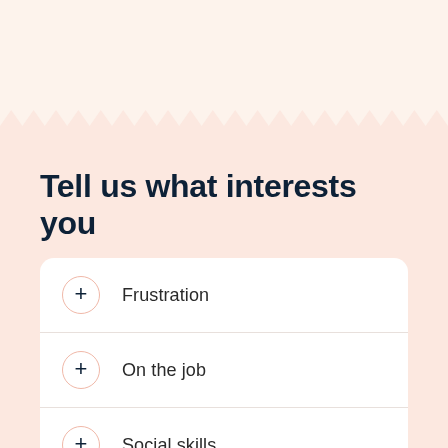Tell us what interests you
Frustration
On the job
Social skills